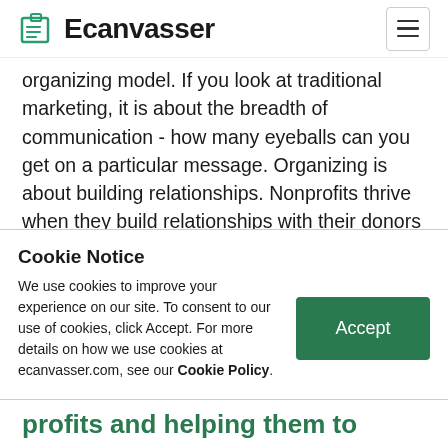Ecanvasser
organizing model. If you look at traditional marketing, it is about the breadth of communication - how many eyeballs can you get on a particular message. Organizing is about building relationships. Nonprofits thrive when they build relationships with their donors and supporters and make specific, timely asks of them. I hope the trend will be less mass communication and more relationship building in 2016.
Cookie Notice
We use cookies to improve your experience on our site. To consent to our use of cookies, click Accept. For more details on how we use cookies at ecanvasser.com, see our Cookie Policy.
profits and helping them to